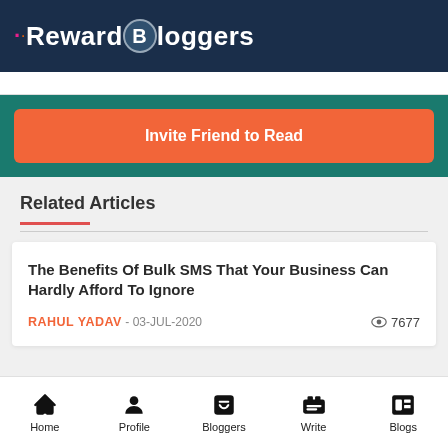Reward Bloggers
Invite Friend to Read
Related Articles
The Benefits Of Bulk SMS That Your Business Can Hardly Afford To Ignore
RAHUL YADAV - 03-JUL-2020   7677
Home | Profile | Bloggers | Write | Blogs